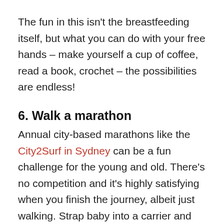The fun in this isn't the breastfeeding itself, but what you can do with your free hands – make yourself a cup of coffee, read a book, crochet – the possibilities are endless!
6. Walk a marathon
Annual city-based marathons like the City2Surf in Sydney can be a fun challenge for the young and old. There's no competition and it's highly satisfying when you finish the journey, albeit just walking. Strap baby into a carrier and make it a family activity, but make sure you choose a lightweight and breathable baby carrier as you